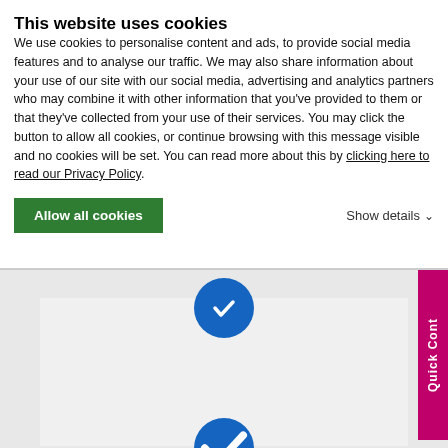This website uses cookies
We use cookies to personalise content and ads, to provide social media features and to analyse our traffic. We may also share information about your use of our site with our social media, advertising and analytics partners who may combine it with other information that you've provided to them or that they've collected from your use of their services. You may click the button to allow all cookies, or continue browsing with this message visible and no cookies will be set. You can read more about this by clicking here to read our Privacy Policy.
Allow all cookies
Show details
We have experienced Sales force with Dedicated Account managers and fast response times.